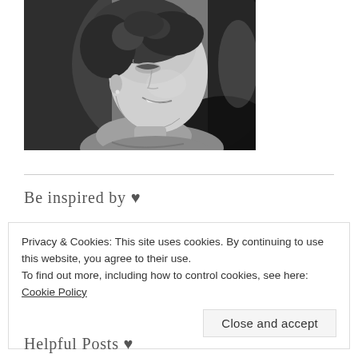[Figure (photo): Black and white portrait photo of a woman smiling, shot from the side/profile, short curly dark hair, looking upward and to the right]
Be inspired by ♥
Privacy & Cookies: This site uses cookies. By continuing to use this website, you agree to their use.
To find out more, including how to control cookies, see here: Cookie Policy
Close and accept
Helpful Posts ♥